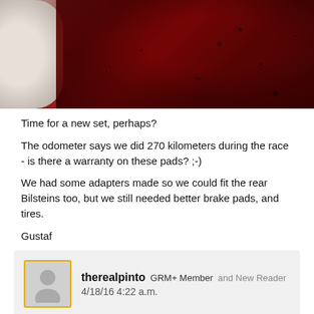[Figure (photo): Close-up photo of worn brake pads with reddish/dark surface, showing significant wear and debris. A white cylindrical object (possibly a caliper or pipe) is visible on the left side.]
Time for a new set, perhaps?
The odometer says we did 270 kilometers during the race - is there a warranty on these pads? ;-)
We had some adapters made so we could fit the rear Bilsteins too, but we still needed better brake pads, and tires.
Gustaf
therealpinto GRM+ Member and New Reader
4/18/16 4:22 a.m.
The pads we ordered for the first race arrived, Mintex 1144